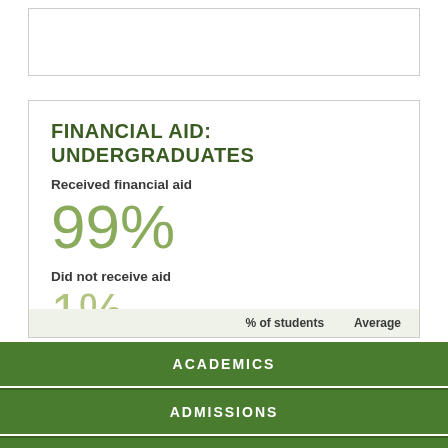[Figure (other): Empty top placeholder box with border]
FINANCIAL AID: UNDERGRADUATES
Received financial aid
99%
Did not receive aid
1%
% of students     Average
ACADEMICS
ADMISSIONS
STUDENT LIFE